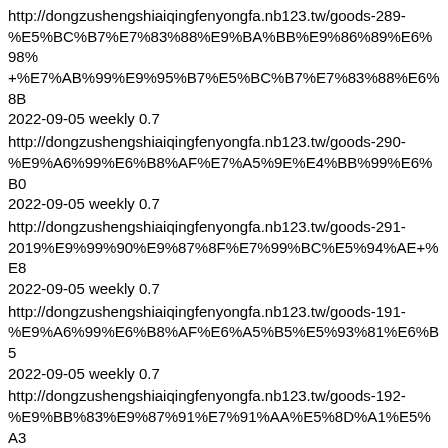http://dongzushengshiaiqingfenyongfa.nb123.tw/goods-289-%E5%BC%B7%E7%83%88%E9%BA%BB%E9%86%89%E6%98%+%E7%AB%99%E9%95%B7%E5%BC%B7%E7%83%88%E6%8B 2022-09-05 weekly 0.7
http://dongzushengshiaiqingfenyongfa.nb123.tw/goods-290-%E9%A6%99%E6%B8%AF%E7%A5%9E%E4%BB%99%E6%B0 2022-09-05 weekly 0.7
http://dongzushengshiaiqingfenyongfa.nb123.tw/goods-291-2019%E9%99%90%E9%87%8F%E7%99%BC%E5%94%AE+%E8 2022-09-05 weekly 0.7
http://dongzushengshiaiqingfenyongfa.nb123.tw/goods-191-%E9%A6%99%E6%B8%AF%E6%A5%B5%E5%93%81%E6%B5 2022-09-05 weekly 0.7
http://dongzushengshiaiqingfenyongfa.nb123.tw/goods-192-%E9%BB%83%E9%87%91%E7%91%AA%E5%8D%A1%E5%A3 2022-09-05 weekly 0.7
http://dongzushengshiaiqingfenyongfa.nb123.tw/goods-193-%E5%BB%B6%E6%99%82%E5%A3%AF%E9%99%BD%E6%B0 2022-09-05 weekly 0.7
http://dongzushengshiaiqingfenyongfa.nb123.tw/goods-194-%E6%AD%A3%E5%93%81%E9%98%B2%E5%81%BD%E6%BB 2022-09-05 weekly 0.7
http://dongzushengshiaiqingfenyongfa.nb123.tw/goods-195-%E4%B8%89%E5%94%91%E4%BE%96.html 2022-09-05 weekly 0.7
http://dongzushengshiaiqingfenyongfa.nb123.tw/goods-155... weekly 0.7